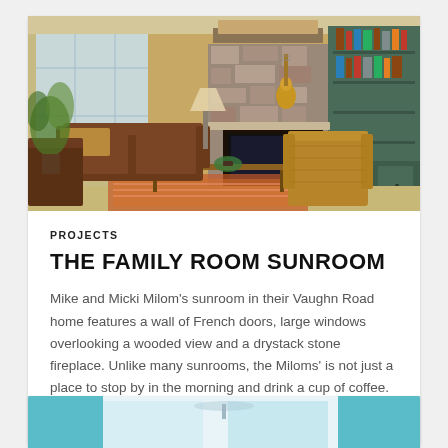[Figure (photo): Interior photo of a family room/sunroom featuring leather sofas, a wicker armchair, a coffee table with a plant, a stone fireplace, built-in green cabinetry, large windows with bright natural light, a guitar hanging on the wall, and a colorful rug on the floor.]
PROJECTS
THE FAMILY ROOM SUNROOM
Mike and Micki Milom's sunroom in their Vaughn Road home features a wall of French doors, large windows overlooking a wooded view and a drystack stone fireplace. Unlike many sunrooms, the Miloms' is not just a place to stop by in the morning and drink a cup of coffee. Serving as a family room, the Miloms'...
[Figure (photo): Partial view of a second room with a light blue/teal color scheme, appearing to be a bathroom or bedroom interior.]